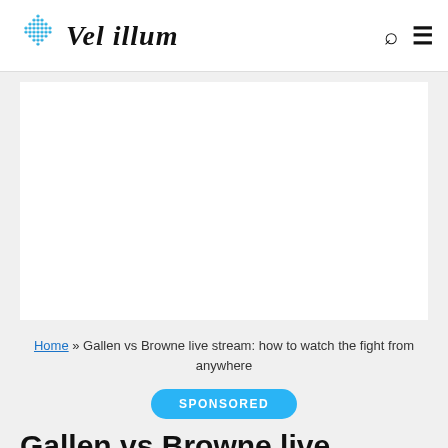Vel illum
[Figure (other): Advertisement/placeholder white box]
Home » Gallen vs Browne live stream: how to watch the fight from anywhere
SPONSORED
Gallen vs Browne live stream: